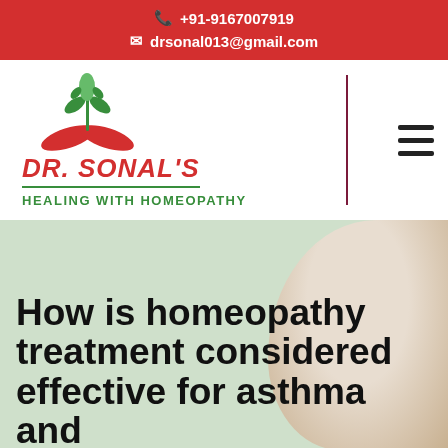+91-9167007919 | drsonal013@gmail.com
[Figure (logo): Dr. Sonal's Healing With Homeopathy logo with green leaves and red hands icon]
How is homeopathy treatment considered effective for asthma and